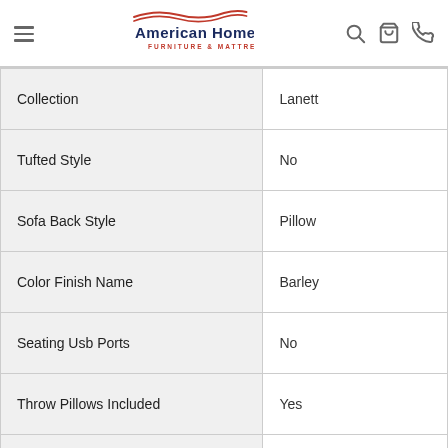[Figure (logo): American Home Furniture & Mattress logo with hamburger menu, search, cart, and phone icons]
| Property | Value |
| --- | --- |
| Collection | Lanett |
| Tufted Style | No |
| Sofa Back Style | Pillow |
| Color Finish Name | Barley |
| Seating Usb Ports | No |
| Throw Pillows Included | Yes |
| Drop Down Console | No |